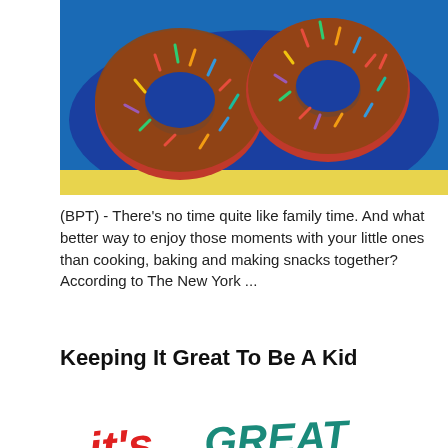[Figure (photo): Two colorful sprinkle-covered donuts on a blue plate photographed from above]
(BPT) - There's no time quite like family time. And what better way to enjoy those moments with your little ones than cooking, baking and making snacks together? According to The New York ...
Keeping It Great To Be A Kid
[Figure (illustration): Crayon-style hand-drawn text reading 'it's GREAT To BE A KiD' with crayons illustrated below the text in red, green, teal, blue and orange colors]